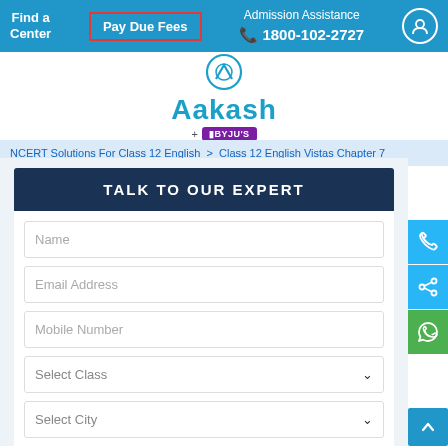Find a Center | Pay Due Fees | Admission Assistance 1800-102-2727 | User icon
[Figure (logo): Aakash + BYJU'S logo with circular symbol above]
NCERT Solutions For Class 12 English > Class 12 English Vistas Chapter 7
TALK TO OUR EXPERT
Name
Email Address
Mobile Number
Select Class
Select City